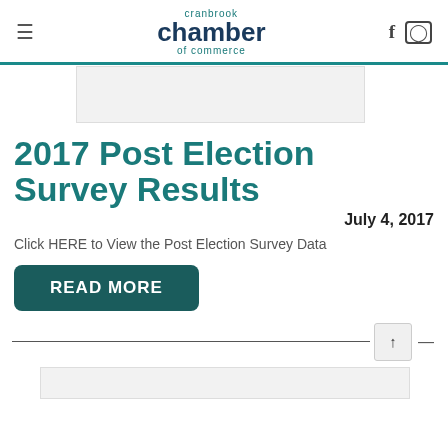cranbrook chamber of commerce
[Figure (illustration): Rectangular image placeholder at top of article]
2017 Post Election Survey Results
July 4, 2017
Click HERE to View the Post Election Survey Data
READ MORE
[Figure (illustration): Rectangular image placeholder at bottom of page]